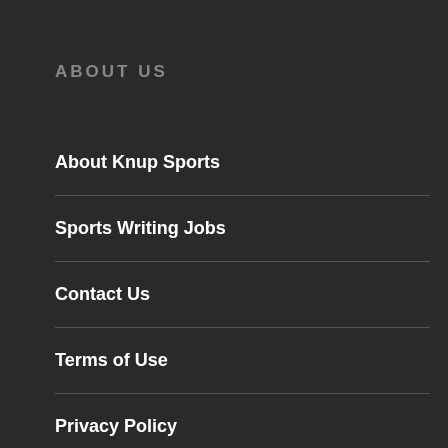ABOUT US
About Knup Sports
Sports Writing Jobs
Contact Us
Terms of Use
Privacy Policy
Disclaimer
Sitemap